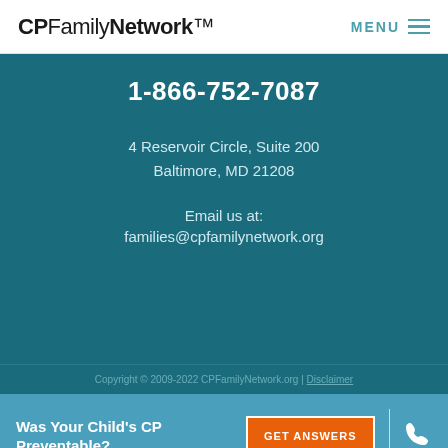CPFamilyNetwork™ | MENU
1-866-752-7087
4 Reservoir Circle, Suite 200
Baltimore, MD 21208
Email us at:
families@cpfamilynetwork.org
Copyright © 2009-2022 CPFamilyNetwork.org | Disclaimer
Was Your Child's CP Preventable?
GET ANSWERS